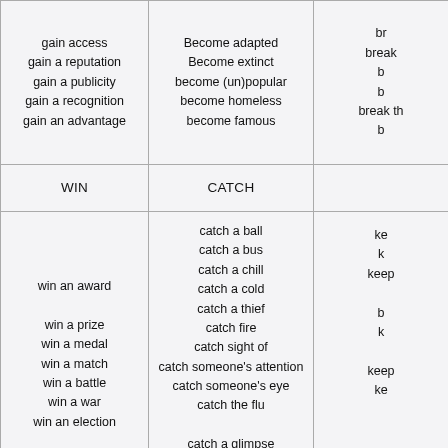| WIN | CATCH |  |
| --- | --- | --- |
| gain access
gain a reputation
gain a publicity
gain a recognition
gain an advantage | Become adapted
Become extinct
become (un)popular
become homeless
become famous | br...
break...
b...
b...
break th...
b... |
| WIN | CATCH |  |
| win an award

win a prize
win a medal
win a match
win a battle
win a war
win an election | catch a ball
catch a bus
catch a chill
catch a cold
catch a thief
catch fire
catch sight of
catch someone's attention
catch someone's eye
catch the flu

catch a glimpse

catch red-handed | ke...
k...
keep...

b...
k...

keep...
ke... |